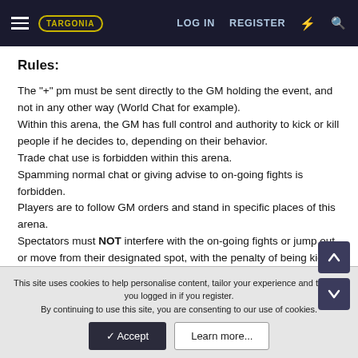LOG IN   REGISTER
Rules:
The "+" pm must be sent directly to the GM holding the event, and not in any other way (World Chat for example).
Within this arena, the GM has full control and authority to kick or kill people if he decides to, depending on their behavior.
Trade chat use is forbidden within this arena.
Spamming normal chat or giving advise to on-going fights is forbidden.
Players are to follow GM orders and stand in specific places of this arena.
Spectators must NOT interfere with the on-going fights or jump out or move from their designated spot, with the penalty of being kicked or
This site uses cookies to help personalise content, tailor your experience and to keep you logged in if you register.
By continuing to use this site, you are consenting to our use of cookies.